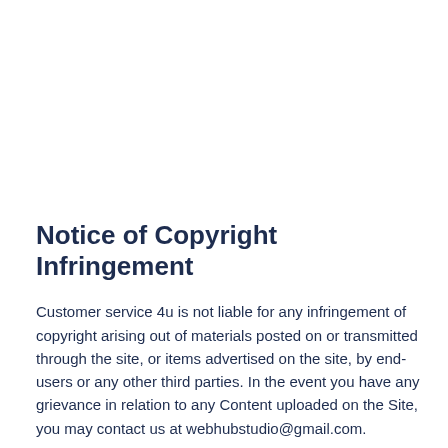Notice of Copyright Infringement
Customer service 4u is not liable for any infringement of copyright arising out of materials posted on or transmitted through the site, or items advertised on the site, by end-users or any other third parties. In the event you have any grievance in relation to any Content uploaded on the Site, you may contact us at webhubstudio@gmail.com.